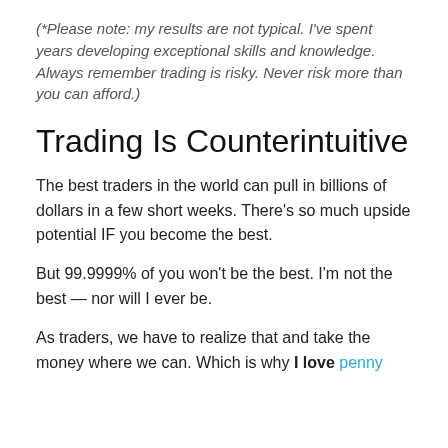(*Please note: my results are not typical. I've spent years developing exceptional skills and knowledge. Always remember trading is risky. Never risk more than you can afford.)
Trading Is Counterintuitive
The best traders in the world can pull in billions of dollars in a few short weeks. There's so much upside potential IF you become the best.
But 99.9999% of you won't be the best. I'm not the best — nor will I ever be.
As traders, we have to realize that and take the money where we can. Which is why I love penny